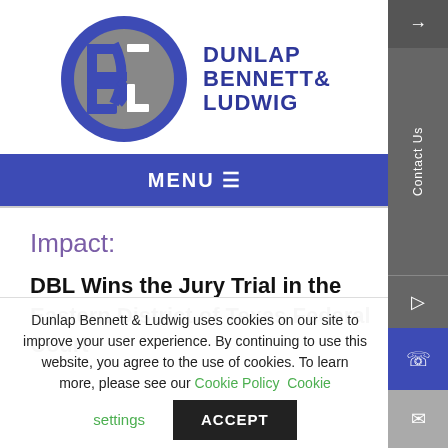[Figure (logo): Dunlap Bennett & Ludwig law firm logo — circular blue/grey icon with 'DB' monogram on left, and 'DUNLAP BENNETT & LUDWIG' text in dark blue on right]
MENU ☰
Impact:
DBL Wins the Jury Trial in the Eastern District of Texas Federal Court
Dunlap Bennett & Ludwig uses cookies on our site to improve your user experience. By continuing to use this website, you agree to the use of cookies. To learn more, please see our Cookie Policy  Cookie settings  ACCEPT